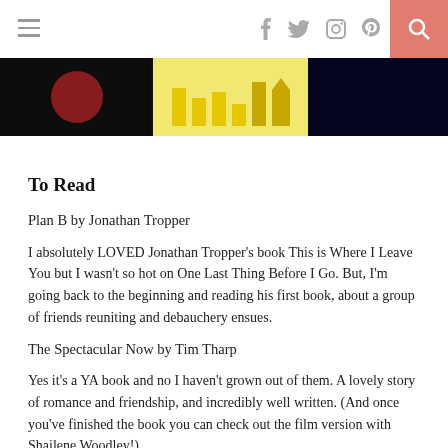≡  f  twitter  instagram  pinterest  [search]
[Figure (photo): Image strip showing three panel images: dark panel with red orb on left, yellow background panel with shapes in center, dark navy panel on right]
To Read
Plan B by Jonathan Tropper
I absolutely LOVED Jonathan Tropper's book This is Where I Leave You but I wasn't so hot on One Last Thing Before I Go. But, I'm going back to the beginning and reading his first book, about a group of friends reuniting and debauchery ensues.
The Spectacular Now by Tim Tharp
Yes it's a YA book and no I haven't grown out of them. A lovely story of romance and friendship, and incredibly well written. (And once you've finished the book you can check out the film version with Shailene Woodley!)